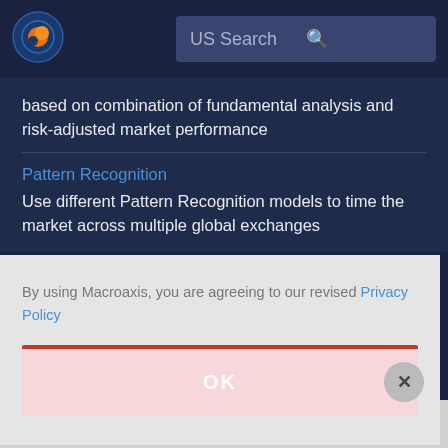[Figure (logo): Macroaxis globe logo with orange and blue colors]
US Search
based on combination of fundamental analysis and risk-adjusted market performance
Pattern Recognition
Use different Pattern Recognition models to time the market across multiple global exchanges
By using Macroaxis, you are agreeing to our revised Privacy Policy
OK